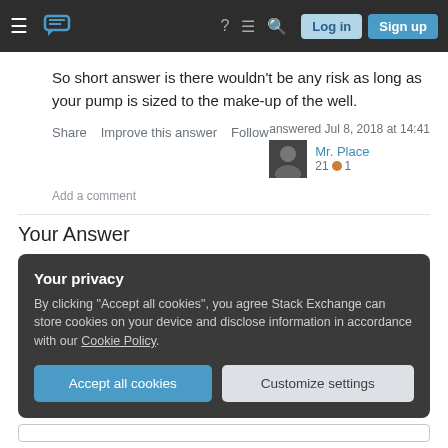Stack Exchange navigation bar with Log in and Sign up buttons
So short answer is there wouldn't be any risk as long as your pump is sized to the make-up of the well.
Share  Improve this answer  Follow  Add a comment
answered Jul 8, 2018 at 14:41  Mr. Place  21  1
Your Answer
Your privacy
By clicking "Accept all cookies", you agree Stack Exchange can store cookies on your device and disclose information in accordance with our Cookie Policy.
Accept all cookies  Customize settings